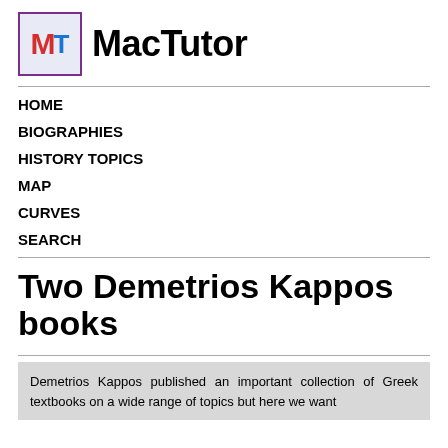[Figure (logo): MacTutor logo: a box with M in red and T in blue subscript on lavender background with purple border, next to bold text 'MacTutor']
HOME
BIOGRAPHIES
HISTORY TOPICS
MAP
CURVES
SEARCH
Two Demetrios Kappos books
Demetrios Kappos published an important collection of Greek textbooks on a wide range of topics but here we want to look at two of his books on to Geometry and here about